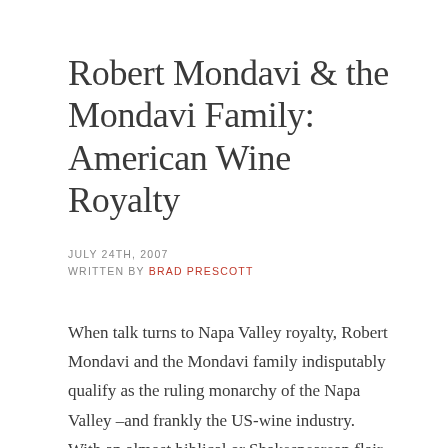Robert Mondavi & the Mondavi Family: American Wine Royalty
JULY 24TH, 2007
WRITTEN BY BRAD PRESCOTT
When talk turns to Napa Valley royalty, Robert Mondavi and the Mondavi family indisputably qualify as the ruling monarchy of the Napa Valley –and frankly the US-wine industry. With an almost biblical or Shakespearean flair, the Mondavi family story of the last 100 years is one of